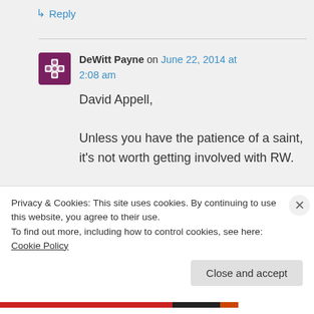↳ Reply
DeWitt Payne on June 22, 2014 at 2:08 am
David Appell,

Unless you have the patience of a saint, it's not worth getting involved with RW.
Privacy & Cookies: This site uses cookies. By continuing to use this website, you agree to their use.
To find out more, including how to control cookies, see here: Cookie Policy
Close and accept